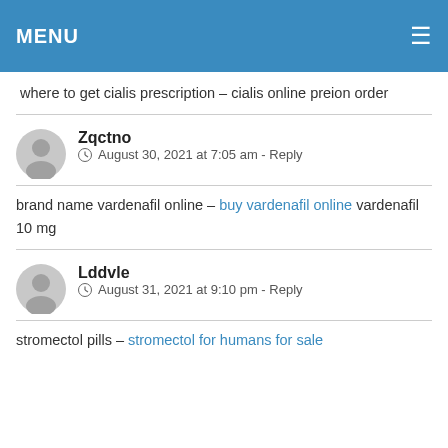MENU
where to get cialis prescription – cialis online preion order
Zqctno
August 30, 2021 at 7:05 am - Reply
brand name vardenafil online – buy vardenafil online vardenafil 10 mg
Lddvle
August 31, 2021 at 9:10 pm - Reply
stromectol pills – stromectol for humans for sale